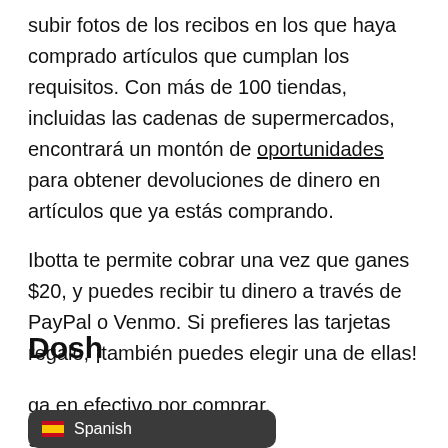subir fotos de los recibos en los que haya comprado artículos que cumplan los requisitos. Con más de 100 tiendas, incluidas las cadenas de supermercados, encontrará un montón de oportunidades para obtener devoluciones de dinero en artículos que ya estás comprando.
Ibotta te permite cobrar una vez que ganes $20, y puedes recibir tu dinero a través de PayPal o Venmo. Si prefieres las tarjetas regalo, ¡también puedes elegir una de ellas!
Dosh
ga en efectivo por comprar, g o reservar hoteles. Para